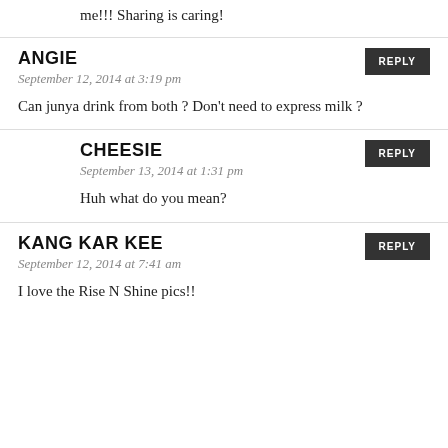me!!! Sharing is caring!
ANGIE
September 12, 2014 at 3:19 pm
Can junya drink from both ? Don't need to express milk ?
CHEESIE
September 13, 2014 at 1:31 pm
Huh what do you mean?
KANG KAR KEE
September 12, 2014 at 7:41 am
I love the Rise N Shine pics!!